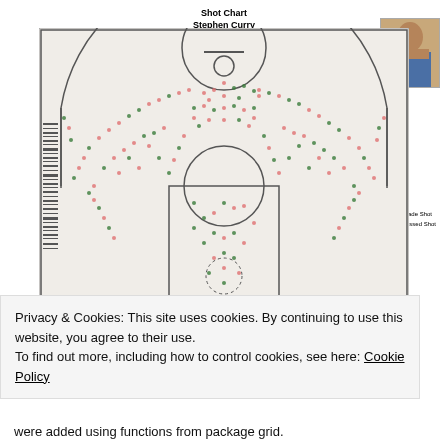[Figure (scatter-plot): Basketball shot chart for Stephen Curry showing made shots (green dots) and missed shots (red/pink dots) on a half-court diagram. Shots are scattered across the three-point arc and inside the paint.]
Privacy & Cookies: This site uses cookies. By continuing to use this website, you agree to their use.
To find out more, including how to control cookies, see here: Cookie Policy
Close and accept
were added using functions from package grid.